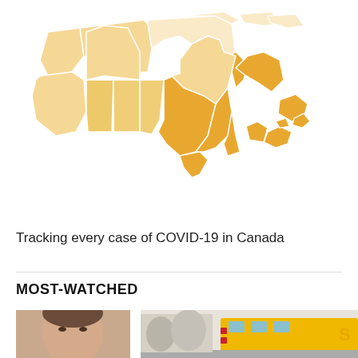[Figure (map): Choropleth map of Canada showing COVID-19 cases by province. Eastern provinces (Ontario, Quebec, Atlantic) are shaded in darker orange indicating higher case counts. Western provinces are in lighter golden/cream shades. Northern territories shown in pale cream.]
Tracking every case of COVID-19 in Canada
MOST-WATCHED
[Figure (photo): Headshot photo of a person (man with brown hair)]
[Figure (photo): Photo of a yellow school bus from behind in winter/snowy conditions]